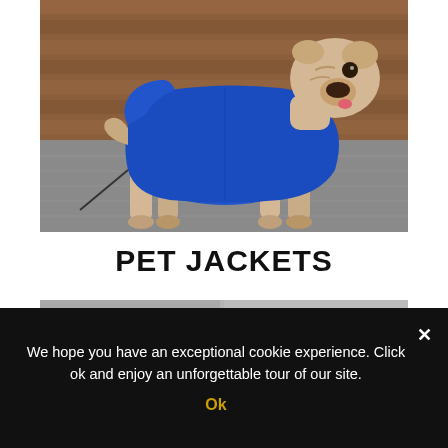[Figure (photo): French bulldog wearing a blue raincoat/jacket, standing on a grey pavement surface with a wooden wall in the background]
PET JACKETS
[Figure (photo): Partial gray bar - product images below the title, partially visible]
We hope you have an exceptional cookie experience. Click ok and enjoy an unforgettable tour of our site.
Ok